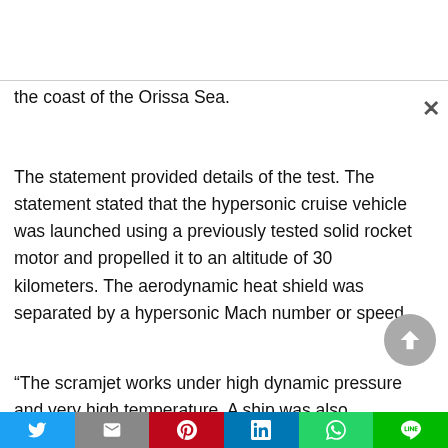the coast of the Orissa Sea.
The statement provided details of the test. The statement stated that the hypersonic cruise vehicle was launched using a previously tested solid rocket motor and propelled it to an altitude of 30 kilometers. The aerodynamic heat shield was separated by a hypersonic Mach number or speed.
“The scramjet works under high dynamic pressure and very high temperature. A ship was also
Twitter | Mail | Pinterest | LinkedIn | WhatsApp | Line